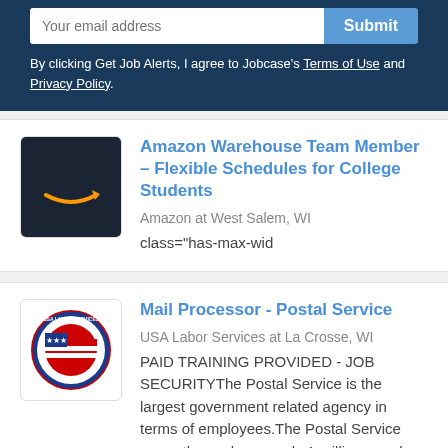Your email address
By clicking Get Job Alerts, I agree to Jobcase's Terms of Use and Privacy Policy.
Amazon Warehouse Team Member – Flexible Schedules for College Students
Amazon at West Salem, WI
class="has-max-wid
Mail Processor - Postal Service
USA Labor Services at La Crosse, WI
PAID TRAINING PROVIDED - JOB SECURITYThe Postal Service is the largest government related agency in terms of employees.The Postal Service currently employs nearly 1 million people and is hiring nation